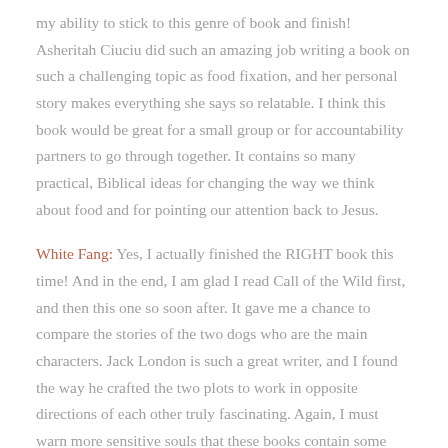my ability to stick to this genre of book and finish! Asheritah Ciuciu did such an amazing job writing a book on such a challenging topic as food fixation, and her personal story makes everything she says so relatable. I think this book would be great for a small group or for accountability partners to go through together. It contains so many practical, Biblical ideas for changing the way we think about food and for pointing our attention back to Jesus.
White Fang: Yes, I actually finished the RIGHT book this time! And in the end, I am glad I read Call of the Wild first, and then this one so soon after. It gave me a chance to compare the stories of the two dogs who are the main characters. Jack London is such a great writer, and I found the way he crafted the two plots to work in opposite directions of each other truly fascinating. Again, I must warn more sensitive souls that these books contain some